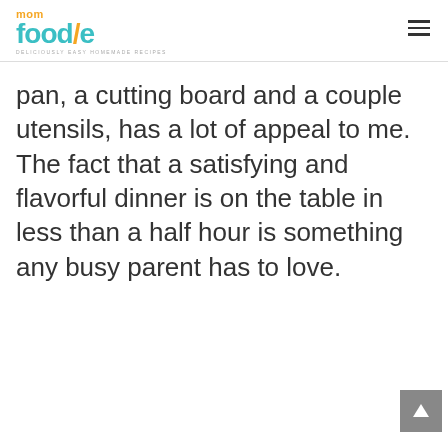mom foodie — deliciously easy homemade recipes
pan, a cutting board and a couple utensils, has a lot of appeal to me.  The fact that a satisfying and flavorful dinner is on the table in less than a half hour is something any busy parent has to love.